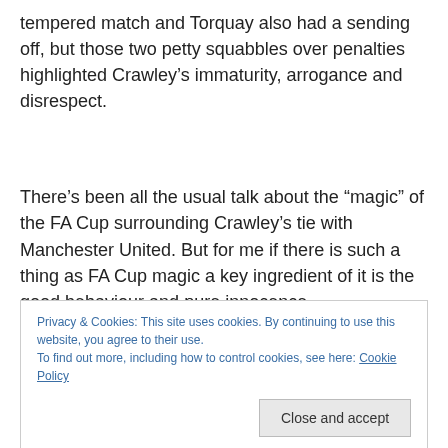tempered match and Torquay also had a sending off, but those two petty squabbles over penalties highlighted Crawley’s immaturity, arrogance and disrespect.
There’s been all the usual talk about the “magic” of the FA Cup surrounding Crawley’s tie with Manchester United. But for me if there is such a thing as FA Cup magic a key ingredient of it is the good behaviour and pure innocence
Privacy & Cookies: This site uses cookies. By continuing to use this website, you agree to their use.
To find out more, including how to control cookies, see here: Cookie Policy
Close and accept
ingredient of it is the good behaviour and pure innocence of the